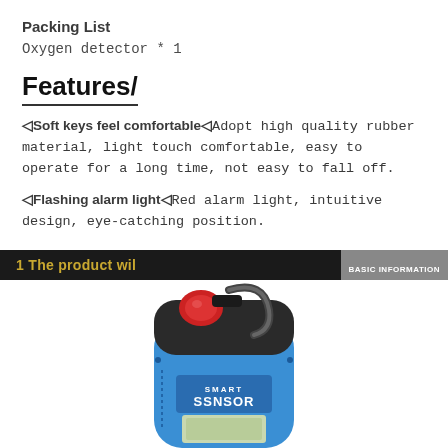Packing List
Oxygen detector * 1
Features/
◁Soft keys feel comfortable◁Adopt high quality rubber material, light touch comfortable, easy to operate for a long time, not easy to fall off.
◁Flashing alarm light◁Red alarm light, intuitive design, eye-catching position.
1 The product wil    BASIC INFORMATION
[Figure (photo): Photo of a blue Smart Sensor oxygen detector device with a red alarm light on top and a clip/handle, showing LCD display area and SMART SSNSOR label]